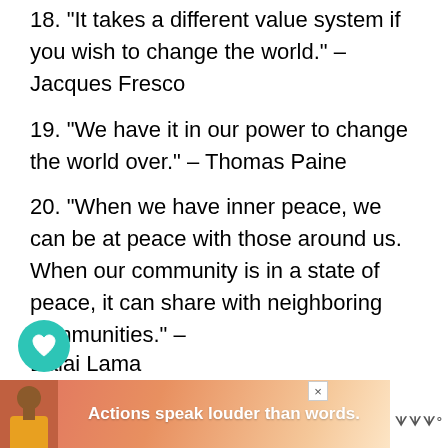18. “It takes a different value system if you wish to change the world.” – Jacques Fresco
19. “We have it in our power to change the world over.” – Thomas Paine
20. “When we have inner peace, we can be at peace with those around us. When our community is in a state of peace, it can share with neighboring communities.” – Dalai Lama
[Figure (screenshot): Web page UI overlay with heart/like button (teal circle), share button, view count 306, and a 'What's Next' recommendation banner for '30+ Quotes About Makin...' with a globe thumbnail]
[Figure (infographic): Advertisement banner at bottom: pink/orange gradient background with a person figure and text 'Actions speak louder than words.' with a close button and logo]